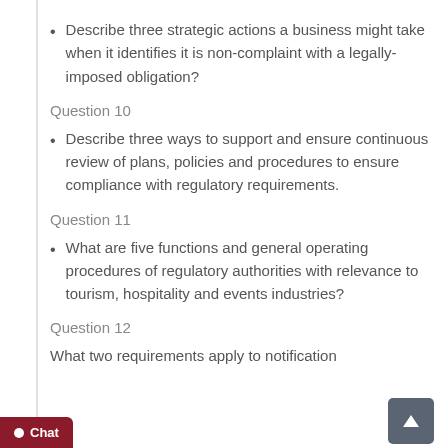Describe three strategic actions a business might take when it identifies it is non-complaint with a legally-imposed obligation?
Question 10
Describe three ways to support and ensure continuous review of plans, policies and procedures to ensure compliance with regulatory requirements.
Question 11
What are five functions and general operating procedures of regulatory authorities with relevance to tourism, hospitality and events industries?
Question 12
What two requirements apply to notification